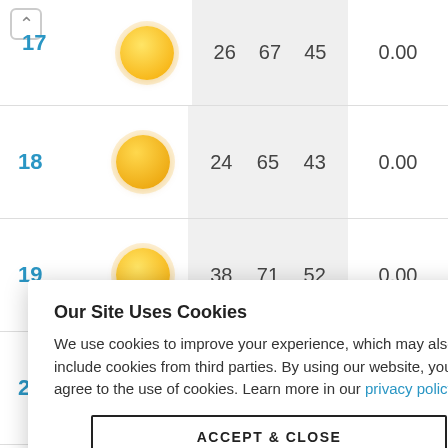| Day | Icon | Low | High | Avg | Precip |
| --- | --- | --- | --- | --- | --- |
| 17 | sunny | 26 | 67 | 45 | 0.00 |
| 18 | sunny | 24 | 65 | 43 | 0.00 |
| 19 | sunny | 38 | 71 | 52 | 0.00 |
| 20 | cloudy | 34 | 59 | 49 | 0.00 |
|  |  |  |  |  | 0.00 |
|  |  |  |  |  | 0.00 |
|  |  |  |  |  | 0.00 |
|  |  |  |  |  | 0.00 |
Our Site Uses Cookies
We use cookies to improve your experience, which may also include cookies from third parties. By using our website, you agree to the use of cookies. Learn more in our privacy policy.
ACCEPT & CLOSE